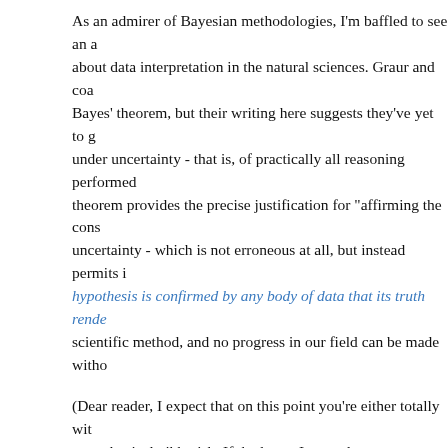As an admirer of Bayesian methodologies, I'm baffled to see an a about data interpretation in the natural sciences. Graur and coa Bayes' theorem, but their writing here suggests they've yet to g under uncertainty - that is, of practically all reasoning performed theorem provides the precise justification for "affirming the cons uncertainty - which is not erroneous at all, but instead permits i hypothesis is confirmed by any body of data that its truth rende scientific method, and no progress in our field can be made witho
(Dear reader, I expect that on this point you're either totally wit metaphysical gibberish. If the latter, I strongly urge you to read t
Graur et al.'s overly conservative definition of biological functio necessary to deductively refute any alternative explanations be hypothesis, generally undermine the several ensuing sections th assays ENCODE used and the putative associated functions. Th addressed by other consortium members far better than I'd be ab discussed are the biggest by far, in my opinion. And in fairness, G specific points on which I'd agree.